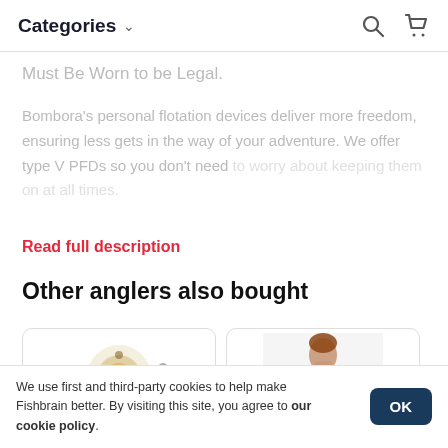Categories
Must Be Worn to be Legal.
Bombora's personal flotation devices deliver more freedom, ensuring less gets in the way of your adventure. We offer type V PFDs so you don't need [text continues/fades]
Read full description
Other anglers also bought
[Figure (photo): Product photo of a fishing reel mechanism (gold/silver metallic gear reel)]
[Figure (photo): Photo of a person seen from behind wearing a yellow vest/life jacket]
We use first and third-party cookies to help make Fishbrain better. By visiting this site, you agree to our cookie policy.